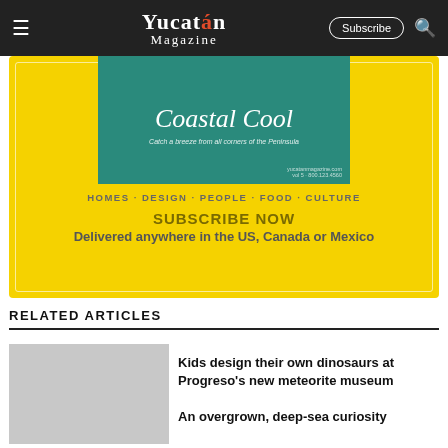Yucatán Magazine — Subscribe — Search
[Figure (advertisement): Yucatán Magazine subscription ad on yellow background showing 'Coastal Cool' magazine cover with teal water background, text: HOMES · DESIGN · PEOPLE · FOOD · CULTURE, SUBSCRIBE NOW, Delivered anywhere in the US, Canada or Mexico]
RELATED ARTICLES
[Figure (photo): Thumbnail photo for article about Kids design their own dinosaurs]
Kids design their own dinosaurs at Progreso's new meteorite museum
[Figure (photo): Thumbnail photo for article about An overgrown, deep-sea curiosity]
An overgrown, deep-sea curiosity